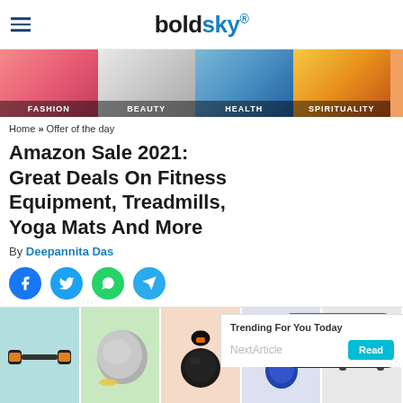boldsky®
[Figure (illustration): Navigation strip with category thumbnails: FASHION, BEAUTY, HEALTH, SPIRITUALITY]
Home » Offer of the day
Amazon Sale 2021: Great Deals On Fitness Equipment, Treadmills, Yoga Mats And More
By Deepannita Das
[Figure (infographic): Social share buttons: Facebook, Twitter, WhatsApp, Telegram]
[Figure (other): NEXT → red navigation button]
[Figure (photo): Grid of fitness equipment images: dumbbells, exercise ball, kettlebell, and more]
Trending For You Today
NextArticle Read